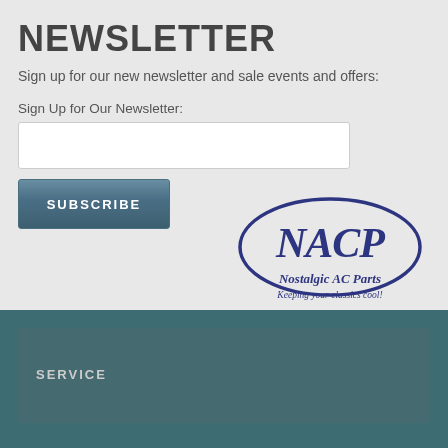NEWSLETTER
Sign up for our new newsletter and sale events and offers:
Sign Up for Our Newsletter:
[Figure (logo): NACP Nostalgic AC Parts logo — oval shape with NACP text, subtitle Nostalgic AC Parts and tagline Keeping your classics cool!]
SERVICE